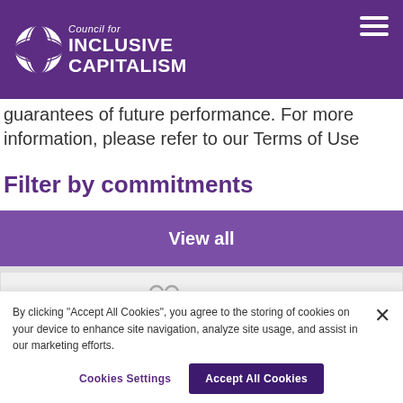Council for Inclusive Capitalism
guarantees of future performance. For more information, please refer to our Terms of Use
Filter by commitments
View all
[Figure (illustration): People icon with two silhouette figures]
People
By clicking "Accept All Cookies", you agree to the storing of cookies on your device to enhance site navigation, analyze site usage, and assist in our marketing efforts.
Cookies Settings
Accept All Cookies